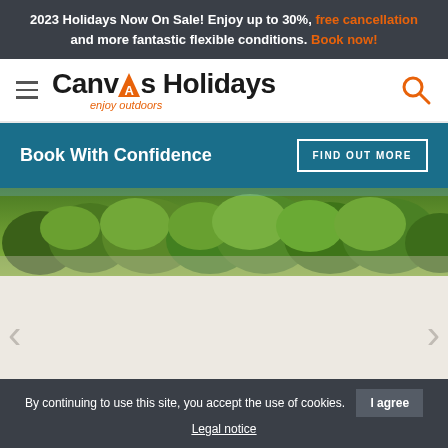2023 Holidays Now On Sale! Enjoy up to 30%, free cancellation and more fantastic flexible conditions. Book now!
[Figure (logo): Canvas Holidays logo with hamburger menu and search icon]
Book With Confidence
[Figure (photo): Aerial view of a dense green forest canopy]
By continuing to use this site, you accept the use of cookies. I agree Legal notice